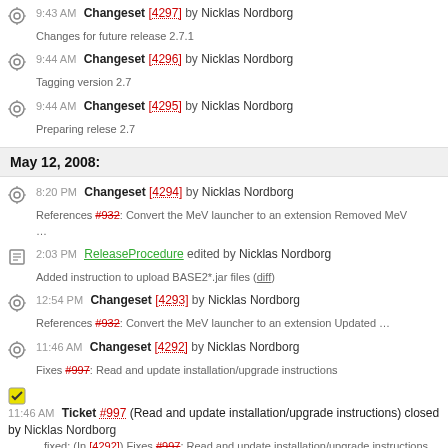9:43 AM Changeset [4297] by Nicklas Nordborg — Changes for future release 2.7.1
9:44 AM Changeset [4296] by Nicklas Nordborg — Tagging version 2.7
9:44 AM Changeset [4295] by Nicklas Nordborg — Preparing relese 2.7
May 12, 2008:
8:20 PM Changeset [4294] by Nicklas Nordborg — References #932: Convert the MeV launcher to an extension Removed MeV …
2:03 PM ReleaseProcedure edited by Nicklas Nordborg — Added instruction to upload BASE2*.jar files (diff)
12:54 PM Changeset [4293] by Nicklas Nordborg — References #932: Convert the MeV launcher to an extension Updated …
11:46 AM Changeset [4292] by Nicklas Nordborg — Fixes #997: Read and update installation/upgrade instructions
11:46 AM Ticket #997 (Read and update installation/upgrade instructions) closed by Nicklas Nordborg — fixed: (In [4292]) Fixes #997: Read and update installation/upgrade instructions
9:49 AM Ticket #1027 (Annotation importer should be able to remove…